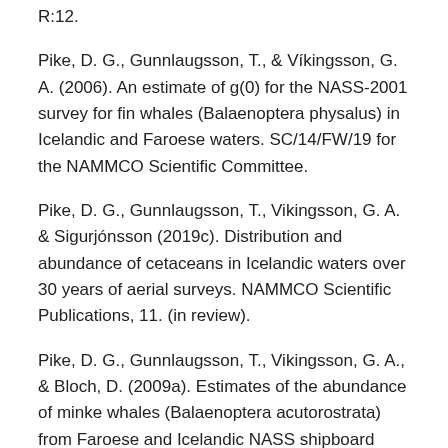R:12.
Pike, D. G., Gunnlaugsson, T., & Víkingsson, G. A. (2006). An estimate of g(0) for the NASS-2001 survey for fin whales (Balaenoptera physalus) in Icelandic and Faroese waters. SC/14/FW/19 for the NAMMCO Scientific Committee.
Pike, D. G., Gunnlaugsson, T., Vikingsson, G. A. & Sigurjónsson (2019c). Distribution and abundance of cetaceans in Icelandic waters over 30 years of aerial surveys. NAMMCO Scientific Publications, 11. (in review).
Pike, D. G., Gunnlaugsson, T., Vikingsson, G. A., & Bloch, D. (2009a). Estimates of the abundance of minke whales (Balaenoptera acutorostrata) from Faroese and Icelandic NASS shipboard surveys. NAMMCO Scientific Publications, 7, 81-93. https://doi.org/10.7557/3.2707
Pike, D. G., Gunnlaugsson, T., Víkingsson, G. A., Desportes,